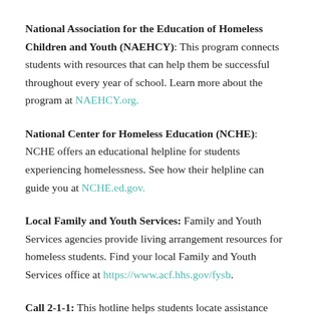National Association for the Education of Homeless Children and Youth (NAEHCY): This program connects students with resources that can help them be successful throughout every year of school. Learn more about the program at NAEHCY.org.
National Center for Homeless Education (NCHE): NCHE offers an educational helpline for students experiencing homelessness. See how their helpline can guide you at NCHE.ed.gov.
Local Family and Youth Services: Family and Youth Services agencies provide living arrangement resources for homeless students. Find your local Family and Youth Services office at https://www.acf.hhs.gov/fysb.
Call 2-1-1: This hotline helps students locate assistance with shelters, food and other support groups.